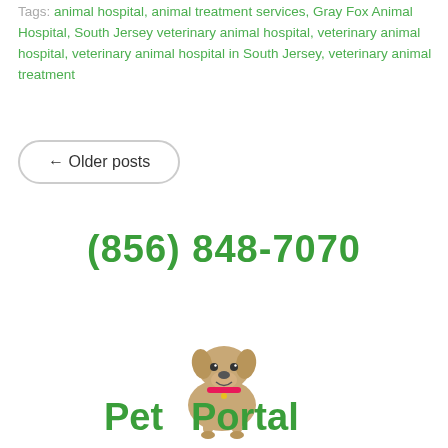Tags: animal hospital, animal treatment services, Gray Fox Animal Hospital, South Jersey veterinary animal hospital, veterinary animal hospital, veterinary animal hospital in South Jersey, veterinary animal treatment
← Older posts
(856) 848-7070
[Figure (logo): Pet Portal logo with a bulldog illustration sitting in front of green bold text reading 'Pet Portal']